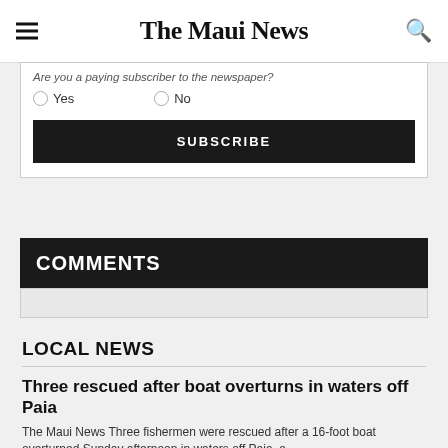The Maui News
Are you a paying subscriber to the newspaper?
Yes   No
SUBSCRIBE
COMMENTS
LOCAL NEWS
Three rescued after boat overturns in waters off Paia
The Maui News Three fishermen were rescued after a 16-foot boat overturned Sunday afternoon in waters off Paia, a ...